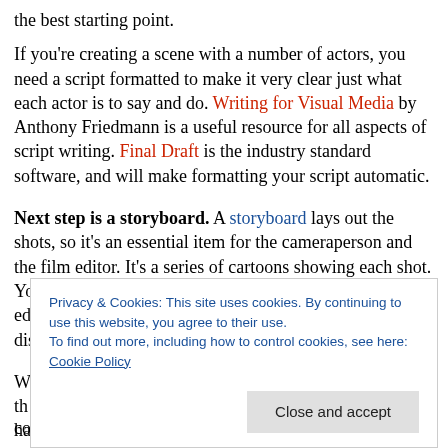the best starting point.
If you're creating a scene with a number of actors, you need a script formatted to make it very clear just what each actor is to say and do. Writing for Visual Media by Anthony Friedmann is a useful resource for all aspects of script writing. Final Draft is the industry standard software, and will make formatting your script automatic.
Next step is a storyboard. A storyboard lays out the shots, so it's an essential item for the cameraperson and the film editor. It's a series of cartoons showing each shot. You can make notes on the type of camera work or editing you plan to add, such as a close up shot or a dissolve to another scene.
W... th... ha... e... m... continuity.
Privacy & Cookies: This site uses cookies. By continuing to use this website, you agree to their use. To find out more, including how to control cookies, see here: Cookie Policy